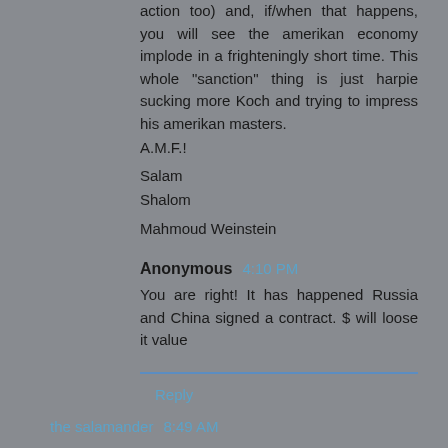action too) and, if/when that happens, you will see the amerikan economy implode in a frighteningly short time. This whole "sanction" thing is just harpie sucking more Koch and trying to impress his amerikan masters.
A.M.F.!

Salam
Shalom

Mahmoud Weinstein
Anonymous 4:10 PM
You are right! It has happened Russia and China signed a contract. $ will loose it value
Reply
the salamander 8:49 AM